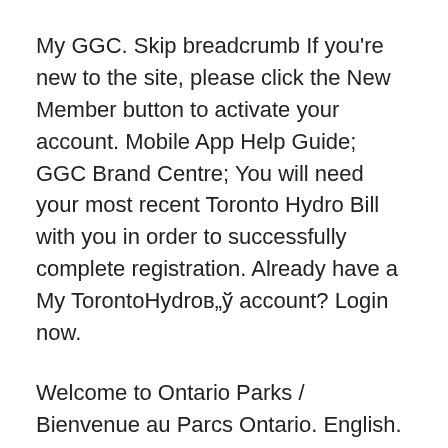My GGC. Skip breadcrumb If you're new to the site, please click the New Member button to activate your account. Mobile App Help Guide; GGC Brand Centre; You will need your most recent Toronto Hydro Bill with you in order to successfully complete registration. Already have a My TorontoHydroв„ў account? Login now.
Welcome to Ontario Parks / Bienvenue au Parcs Ontario. English. FranГ§ais. October 5, 2018 10:53:32 PM How Marcellus Learned and Grew at YMCA Day Camps ; Winter Fun at Cedar Glen ; Toronto Region Day Camps. create your own personalized e-Guide.
Select your nearest YMCA from our 48 YMCA Member Associations, rooted in local communities across Canada. Programs and services vary by location. Alert: As a security-